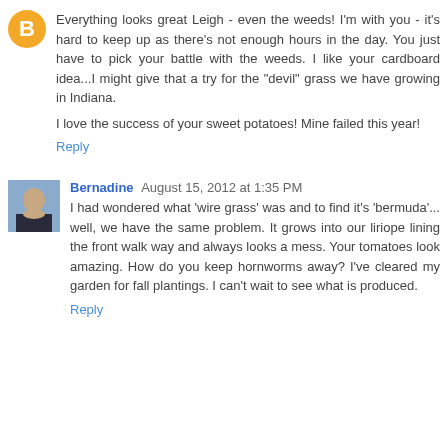Everything looks great Leigh - even the weeds! I'm with you - it's hard to keep up as there's not enough hours in the day. You just have to pick your battle with the weeds. I like your cardboard idea...I might give that a try for the "devil" grass we have growing in Indiana.

I love the success of your sweet potatoes! Mine failed this year!
Reply
Bernadine  August 15, 2012 at 1:35 PM
I had wondered what 'wire grass' was and to find it's 'bermuda'... well, we have the same problem. It grows into our liriope lining the front walk way and always looks a mess. Your tomatoes look amazing. How do you keep hornworms away? I've cleared my garden for fall plantings. I can't wait to see what is produced.
Reply